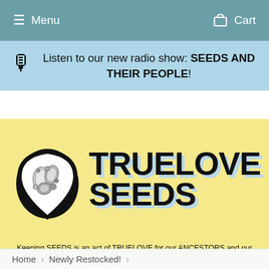Menu   Cart
Listen to our new radio show: SEEDS AND THEIR PEOPLE!
[Figure (logo): Truelove Seeds logo: a hand-drawn illustration of seeds arranged in a heart/teardrop shape, with the text TRUELOVE SEEDS in large bold black letters with a light blue shadow effect]
Keeping SEEDS is an act of TRUELOVE for our ANCESTORS and our collective FUTURE!
Home › Newly Restocked! ›